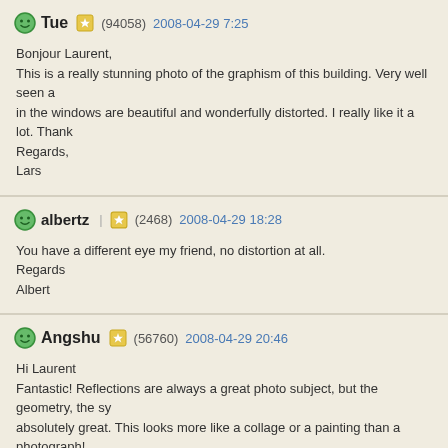Tue (94058) 2008-04-29 7:25
Bonjour Laurent,
This is a really stunning photo of the graphism of this building. Very well seen a... in the windows are beautiful and wonderfully distorted. I really like it a lot. Thank...
Regards,
Lars
albertz (2468) 2008-04-29 18:28
You have a different eye my friend, no distortion at all.
Regards
Albert
Angshu (56760) 2008-04-29 20:46
Hi Laurent
Fantastic! Reflections are always a great photo subject, but the geometry, the sy... absolutely great. This looks more like a collage or a painting than a photograph!...
Best Regards
Angshu